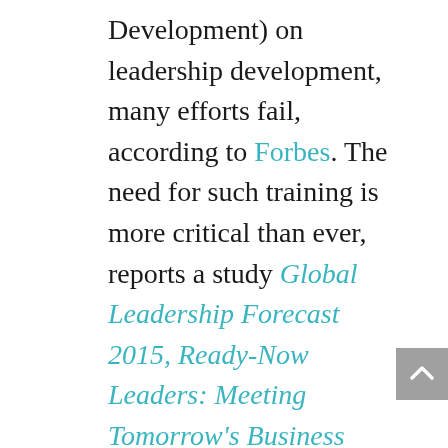Development) on leadership development, many efforts fail, according to Forbes. The need for such training is more critical than ever, reports a study Global Leadership Forecast 2015, Ready-Now Leaders: Meeting Tomorrow's Business Challenges, which says that "Companies with high leadership qualities were six times more likely to be among the top 20 financial performers of all organizations."
Gary and Rocio designed the nine-month curriculum (one weekend per month in residence) to serve silo-ed managers from across all sectors, from NGOs